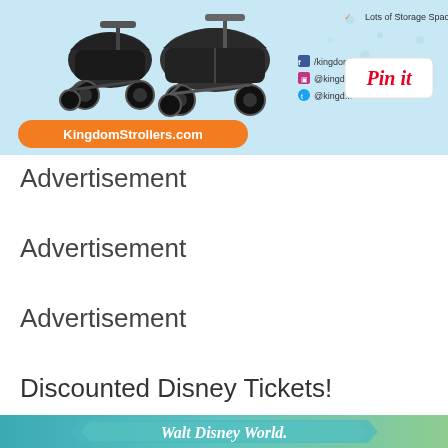[Figure (photo): Kingdom Strollers advertisement banner showing stroller images, KingdomStrollers.com orange button, social media icons, and a Pinterest 'Pin it' button on a light blue background]
Advertisement
Advertisement
Advertisement
Discounted Disney Tickets!
[Figure (photo): Walt Disney World logo banner on teal/green gradient background]